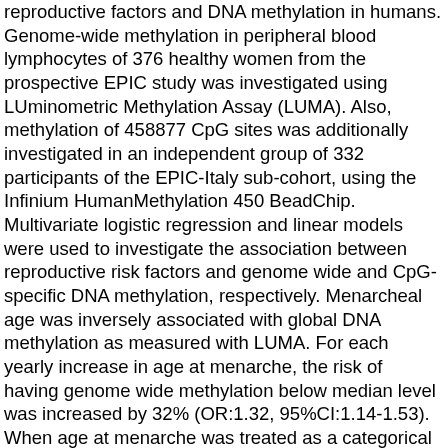reproductive factors and DNA methylation in humans. Genome-wide methylation in peripheral blood lymphocytes of 376 healthy women from the prospective EPIC study was investigated using LUminometric Methylation Assay (LUMA). Also, methylation of 458877 CpG sites was additionally investigated in an independent group of 332 participants of the EPIC-Italy sub-cohort, using the Infinium HumanMethylation 450 BeadChip. Multivariate logistic regression and linear models were used to investigate the association between reproductive risk factors and genome wide and CpG-specific DNA methylation, respectively. Menarcheal age was inversely associated with global DNA methylation as measured with LUMA. For each yearly increase in age at menarche, the risk of having genome wide methylation below median level was increased by 32% (OR:1.32, 95%CI:1.14-1.53). When age at menarche was treated as a categorical variable, there was an inverse dose-response relationship with LUMA methylation levels (OR(12-14 vs. ≤11 yrs):1.78, 95%CI:1.01-3.17 and OR(≥15 vs. ≤11 yrs):4.59, 95%CI:2.04-10.33; P for trend<0.0001). However, average levels of global methylation as measured by the Illumina technology were not significantly